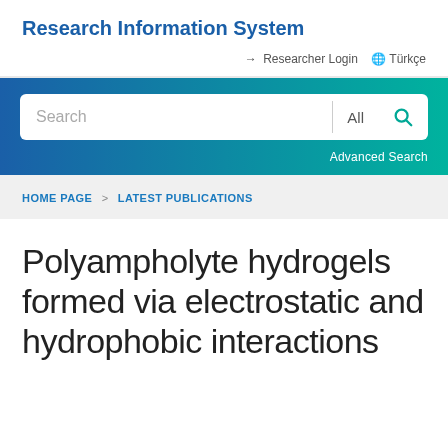Research Information System
Researcher Login  Türkçe
[Figure (screenshot): Search bar with text input field, All dropdown, and search button on a blue-to-teal gradient banner background, with Advanced Search link below]
HOME PAGE > LATEST PUBLICATIONS
Polyampholyte hydrogels formed via electrostatic and hydrophobic interactions